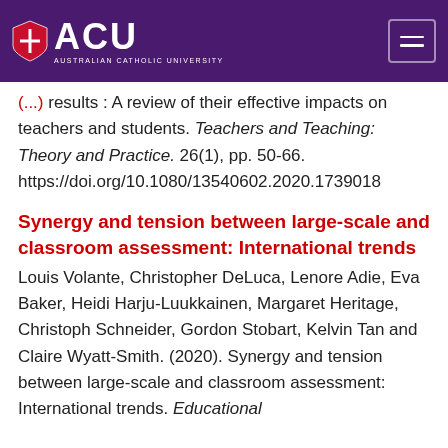[Figure (logo): Australian Catholic University (ACU) logo with shield icon and navigation hamburger menu on purple header bar]
(...) results : A review of their effective impacts on teachers and students. Teachers and Teaching: Theory and Practice. 26(1), pp. 50-66. https://doi.org/10.1080/13540602.2020.1739018
Synergy and tension between large-scale and classroom assessment: International trends
Louis Volante, Christopher DeLuca, Lenore Adie, Eva Baker, Heidi Harju-Luukkainen, Margaret Heritage, Christoph Schneider, Gordon Stobart, Kelvin Tan and Claire Wyatt-Smith. (2020). Synergy and tension between large-scale and classroom assessment: International trends. Educational